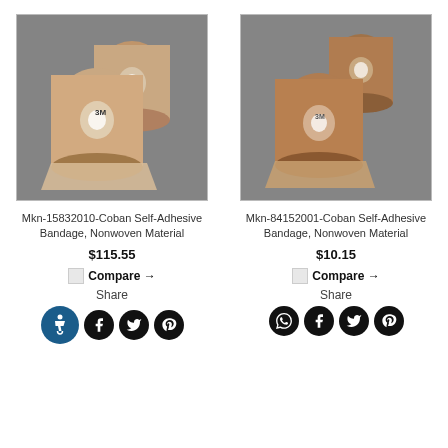[Figure (photo): Two rolls of Coban Self-Adhesive Bandage (beige/tan) on grey background]
[Figure (photo): Two rolls of Coban Self-Adhesive Bandage (darker tan/brown) on grey background]
Mkn-15832010-Coban Self-Adhesive Bandage, Nonwoven Material
$115.55
Compare ➔
Share
Mkn-84152001-Coban Self-Adhesive Bandage, Nonwoven Material
$10.15
Compare ➔
Share